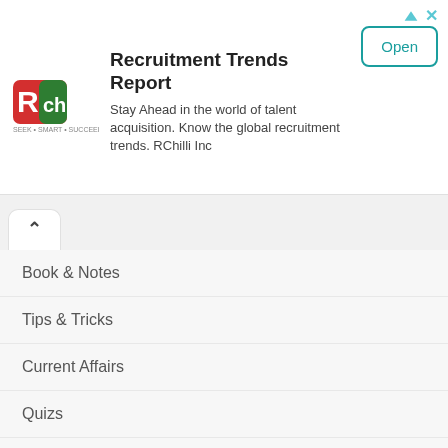[Figure (logo): RChilli logo — red and green stylized R with 'RChilli' text and tagline]
Recruitment Trends Report
Stay Ahead in the world of talent acquisition. Know the global recruitment trends. RChilli Inc
Open
Book & Notes
Tips & Tricks
Current Affairs
Quizs
Sample Papers
Top Colleges
Top Universities